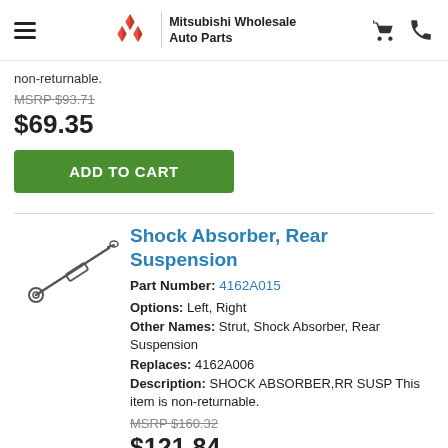Mitsubishi Wholesale Auto Parts
non-returnable.
MSRP $93.71
$69.35
ADD TO CART
Shock Absorber, Rear Suspension
Part Number: 4162A015
Options: Left, Right
Other Names: Strut, Shock Absorber, Rear Suspension
Replaces: 4162A006
Description: SHOCK ABSORBER,RR SUSP This item is non-returnable.
MSRP $160.32
$121.84
ADD TO CART